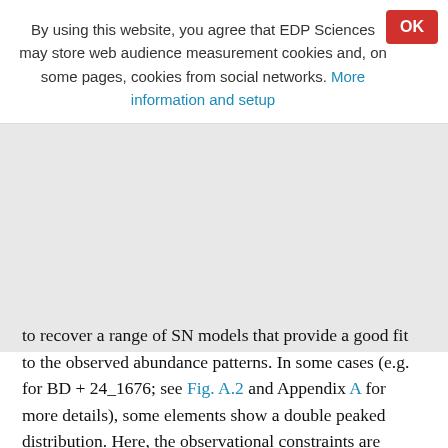By using this website, you agree that EDP Sciences may store web audience measurement cookies and, on some pages, cookies from social networks. More information and setup
to recover a range of SN models that provide a good fit to the observed abundance patterns. In some cases (e.g. for BD + 24_1676; see Fig. A.2 and Appendix A for more details), some elements show a double peaked distribution. Here, the observational constraints are